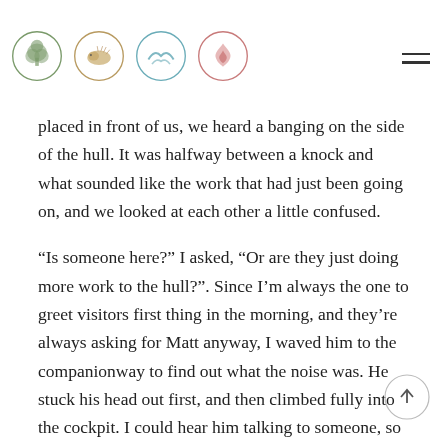Navigation header with four circular icons (tree, animal, wave/bird, flame) and hamburger menu
placed in front of us, we heard a banging on the side of the hull. It was halfway between a knock and what sounded like the work that had just been going on, and we looked at each other a little confused.
“Is someone here?” I asked, “Or are they just doing more work to the hull?”. Since I’m always the one to greet visitors first thing in the morning, and they’re always asking for Matt anyway, I waved him to the companionway to find out what the noise was. He stuck his head out first, and then climbed fully into the cockpit. I could hear him talking to someone, so it was obvious that it was a person knocking at the hull, but I had no idea who. Although I couldn’t make out the conversation, it sounded more casual than business, and I called up to him to ask